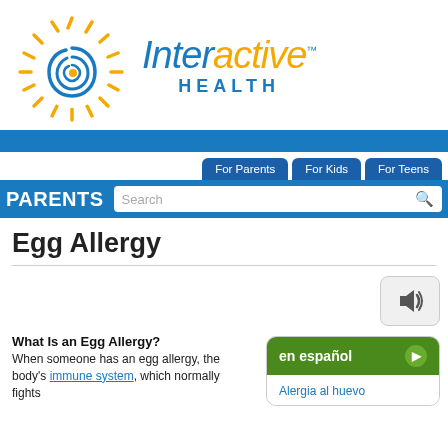[Figure (logo): Interactive Health logo with sun spiral graphic and text 'Interactive HEALTH']
[Figure (screenshot): Navigation bar with For Parents, For Kids, For Teens tabs and PARENTS label with search box]
Egg Allergy
[Figure (other): Speaker/audio button icon]
[Figure (other): en español button with Alergia al huevo link]
What Is an Egg Allergy?
When someone has an egg allergy, the body's immune system, which normally fights